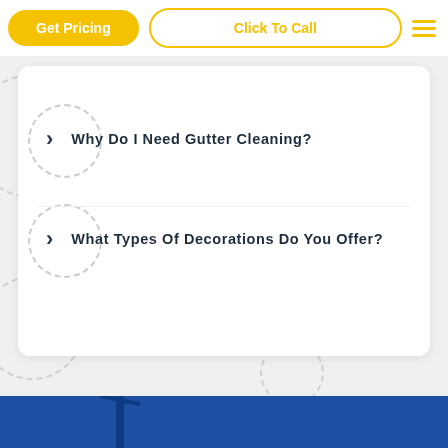Get Pricing | Click To Call
Why Do I Need Gutter Cleaning?
What Types Of Decorations Do You Offer?
[Figure (photo): Blue background with a street lamp and decorations visible at bottom of page]